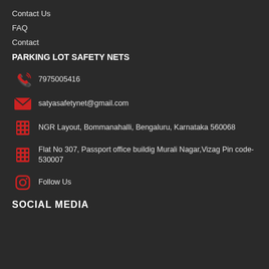Contact Us
FAQ
Contact
PARKING LOT SAFETY NETS
7975005416
satyasafetynet@gmail.com
NGR Layout, Bommanahalli, Bengaluru, Karnataka 560068
Flat No 307, Passport office buildig Murali Nagar,Vizag Pin code-530007
Follow Us
SOCIAL MEDIA